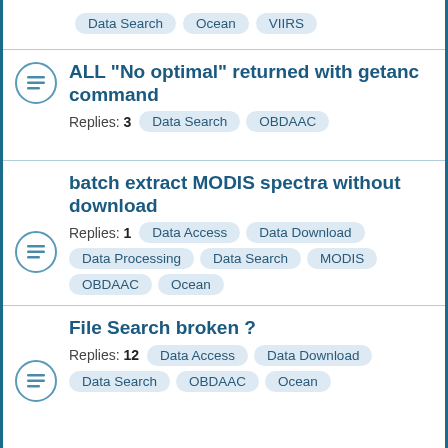Data Search, Ocean, VIIRS
ALL "No optimal" returned with getanc command
Replies: 3  Data Search  OBDAAC
batch extract MODIS spectra without download
Replies: 1  Data Access  Data Download  Data Processing  Data Search  MODIS  OBDAAC  Ocean
File Search broken ?
Replies: 12  Data Access  Data Download  Data Search  OBDAAC  Ocean